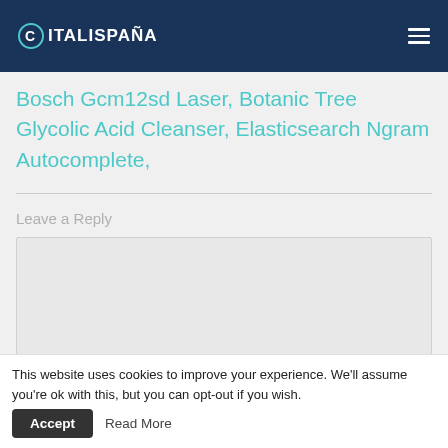CITALISPAÑA
Bosch Gcm12sd Laser, Botanic Tree Glycolic Acid Cleanser, Elasticsearch Ngram Autocomplete,
Leave a Reply
This website uses cookies to improve your experience. We'll assume you're ok with this, but you can opt-out if you wish.